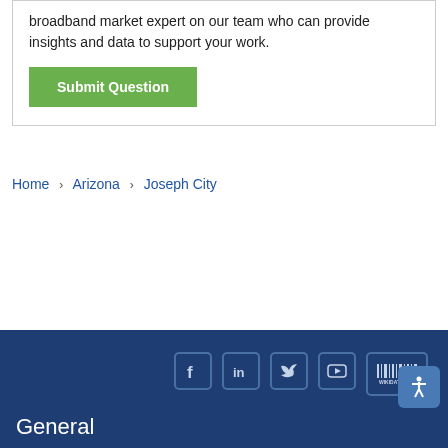broadband market expert on our team who can provide insights and data to support your work.
Submit Question
Home › Arizona › Joseph City
[Figure (other): Social media icons: Facebook, LinkedIn, Twitter, YouTube, Wikidata]
General
About BroadbandNow
Reports & Research